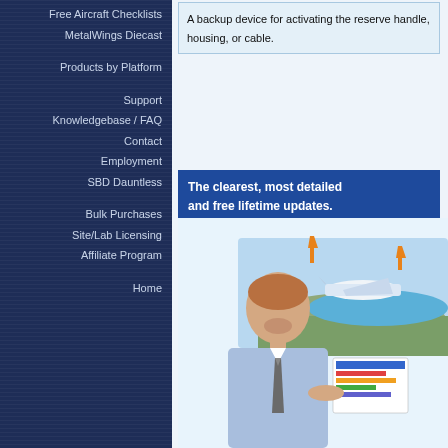Free Aircraft Checklists
MetalWings Diecast
Products by Platform
Support
Knowledgebase / FAQ
Contact
Employment
SBD Dauntless
Bulk Purchases
Site/Lab Licensing
Affiliate Program
Home
A backup device for activating the reserve handle, housing, or cable.
The clearest, most detailed and free lifetime updates.
[Figure (photo): Promotional image of a young man in a blue shirt and tie holding a tablet/book, with an aviation diagram showing an airplane over a landscape with orange arrows in the background.]